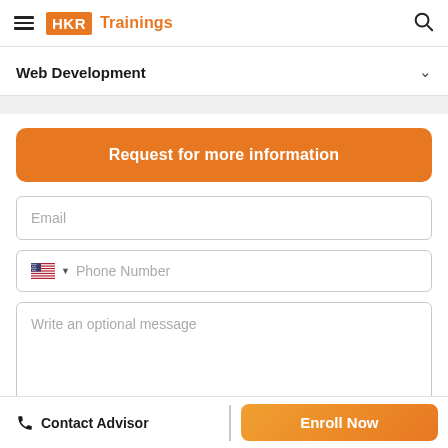HKR Trainings
Web Development
Request for more information
Email
Phone Number
Write an optional message
Contact Advisor
Enroll Now